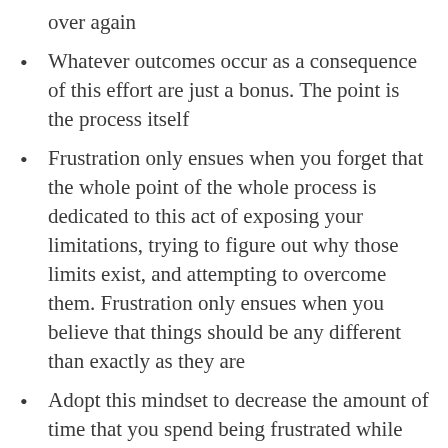over again
Whatever outcomes occur as a consequence of this effort are just a bonus. The point is the process itself
Frustration only ensues when you forget that the whole point of the whole process is dedicated to this act of exposing your limitations, trying to figure out why those limits exist, and attempting to overcome them. Frustration only ensues when you believe that things should be any different than exactly as they are
Adopt this mindset to decrease the amount of time that you spend being frustrated while also recognizing that frustration is likely to occur, and also